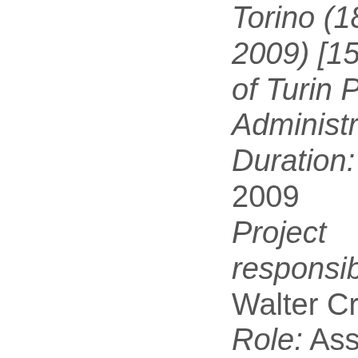Torino (1859-2009) [150 years of Turin Provincial Administration] Duration: 2008-2009 Project responsible: Pro. Walter Crivellin Role: Associate researcher Institution: Carlo Donat-Cattin Foundation T...